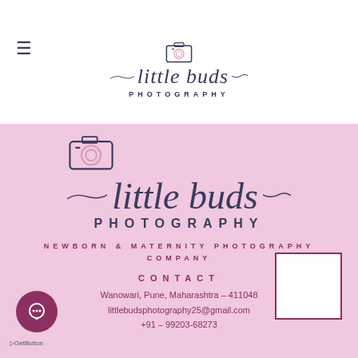[Figure (logo): Little Buds Photography logo in white top bar with small camera icon and script text]
[Figure (logo): Little Buds Photography large logo on pink background with camera icon, cursive script and PHOTOGRAPHY text]
NEWBORN & MATERNITY PHOTOGRAPHY COMPANY
CONTACT
Wanowari, Pune, Maharashtra – 411048
littlebudsphotography25@gmail.com
+91 – 99203-68273